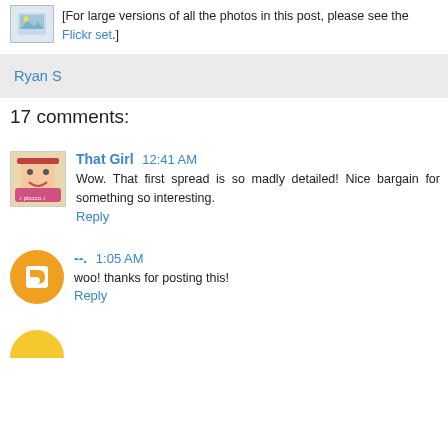[Figure (photo): Small thumbnail image of photos]
[For large versions of all the photos in this post, please see the Flickr set.]
Ryan S
17 comments:
[Figure (photo): Pixel art avatar of a cartoon girl]
That Girl  12:41 AM
Wow. That first spread is so madly detailed! Nice bargain for something so interesting.
Reply
[Figure (photo): Orange circle avatar with blogger B icon]
--.  1:05 AM
woo! thanks for posting this!
Reply
[Figure (photo): Yellow circle avatar partially visible]